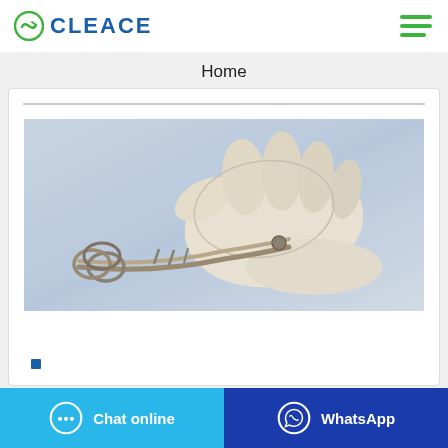CLEACE
Home
[Figure (photo): A gloved hand (latex/medical examination glove) holding a curved surgical hemostat/clamp instrument, photographed against a light blue-grey gradient background.]
Chat online
WhatsApp